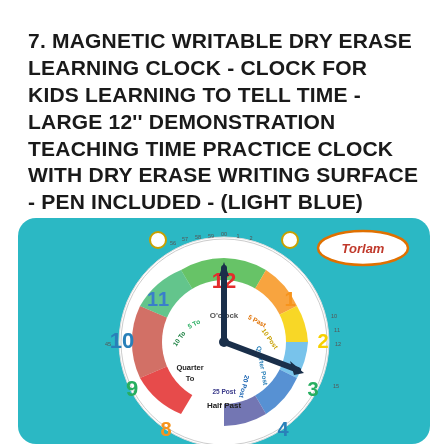7. MAGNETIC WRITABLE DRY ERASE LEARNING CLOCK - CLOCK FOR KIDS LEARNING TO TELL TIME - LARGE 12" DEMONSTRATION TEACHING TIME PRACTICE CLOCK WITH DRY ERASE WRITING SURFACE - PEN INCLUDED - (LIGHT BLUE)
[Figure (photo): Product photo of a Torlam magnetic dry erase learning clock with teal/blue background. The circular clock face shows numbers 1-12 in different colors (red 12, orange 1, yellow 2, green 3, blue 4, orange 8, green 9, blue 10, blue 11), with colored arc sections labeled: Quarter To (red), 25 To, 20 To, 10 To, 5 To, O'clock (green), 5 Past, 10 Past, Quarter Past, 20 Past, 25 Past, Half Past. Clock hands shown in dark navy. Outer ring shows minute numbers 0-59. Two mounting holes visible at top. Torlam logo in oval at top right.]